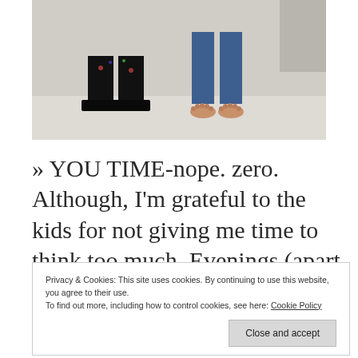[Figure (photo): Photo showing feet and lower legs of people standing on a light-colored floor. One person wearing black boots with patterned socks, another in blue jeans with bare feet.]
» YOU TIME-nope. zero. Although, I'm grateful to the kids for not giving me time to think too much. Evenings (apart from social distancing from
Privacy & Cookies: This site uses cookies. By continuing to use this website, you agree to their use.
To find out more, including how to control cookies, see here: Cookie Policy
Close and accept
(maybe) DIY etc. I'm very aware that